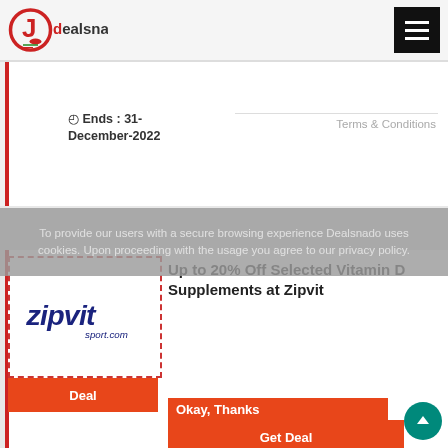Dealsnado - header with logo and hamburger menu
Deal
Get Deal
Ends : 31-December-2022
Terms & Conditions
To provide our users with a secure browsing experience Dealsnado uses cookies. Upon proceeding with the usage you agree to our privacy policy.
[Figure (logo): Zipvit sport.com logo with dashed border]
Up to 20% Off Selected Vitamin D Supplements at Zipvit
Deal
Okay, Thanks
Get Deal